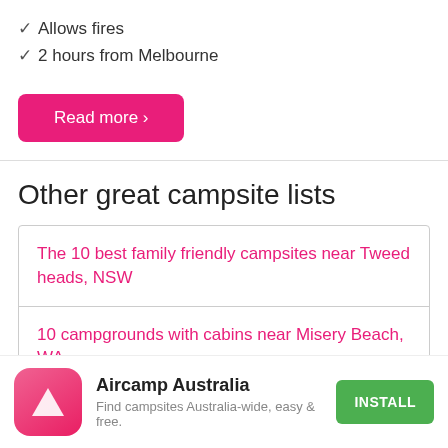✓ Allows fires
✓ 2 hours from Melbourne
Read more ›
Other great campsite lists
The 10 best family friendly campsites near Tweed heads, NSW
10 campgrounds with cabins near Misery Beach, WA
Aircamp Australia
Find campsites Australia-wide, easy & free.
INSTALL